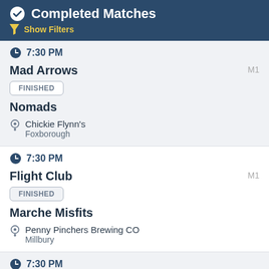Completed Matches
Show Filters
7:30 PM
Mad Arrows — M1 — FINISHED — Nomads — Chickie Flynn's, Foxborough
7:30 PM
Flight Club — M1 — FINISHED — Marche Misfits — Penny Pinchers Brewing CO, Millbury
7:30 PM